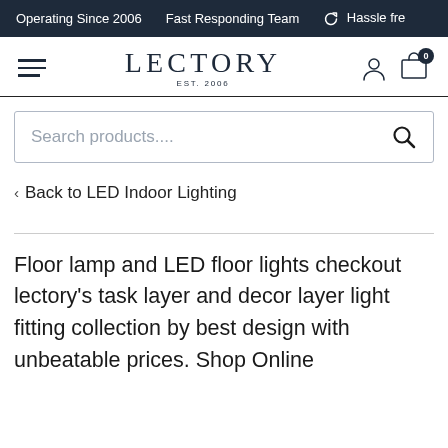Operating Since 2006   Fast Responding Team   Hassle fre
[Figure (logo): Lectory logo with hamburger menu, user icon, and cart icon with 0 badge]
[Figure (screenshot): Search products.... input bar with magnifying glass icon]
‹  Back to LED Indoor Lighting
Floor lamp and LED floor lights checkout lectory's task layer and decor layer light fitting collection by best design with unbeatable prices. Shop Online